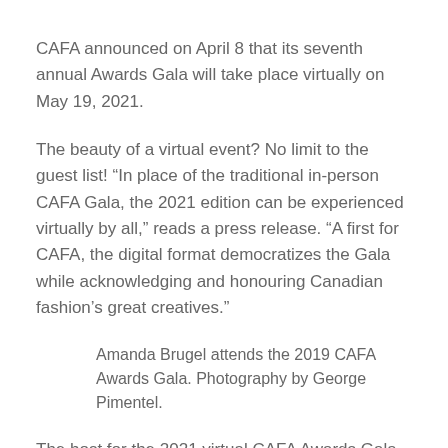CAFA announced on April 8 that its seventh annual Awards Gala will take place virtually on May 19, 2021.
The beauty of a virtual event? No limit to the guest list! “In place of the traditional in-person CAFA Gala, the 2021 edition can be experienced virtually by all,” reads a press release. “A first for CAFA, the digital format democratizes the Gala while acknowledging and honouring Canadian fashion’s great creatives.”
Amanda Brugel attends the 2019 CAFA Awards Gala. Photography by George Pimentel.
The host for the 2021 virtual CAFA Awards Gala was also revealed, with Canadian actress Amanda Brugel, known